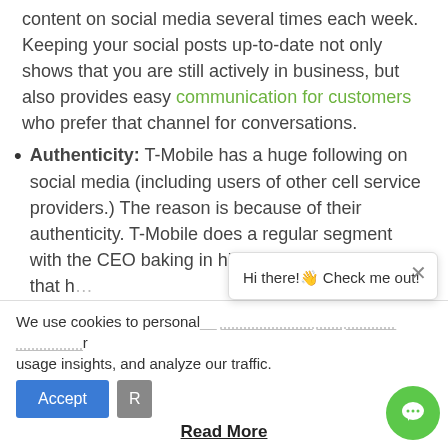content on social media several times each week. Keeping your social posts up-to-date not only shows that you are still actively in business, but also provides easy communication for customers who prefer that channel for conversations.
Authenticity: T-Mobile has a huge following on social media (including users of other cell service providers.) The reason is because of their authenticity. T-Mobile does a regular segment with the CEO baking in his kitchen. What does that h... Not much other t...
We use cookies to personal... ... ... ... r usage insights, and analyze our traffic.
Hi there!👋 Check me out!
Read More